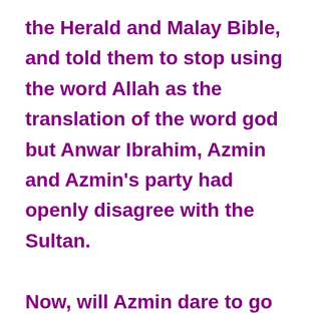the Herald and Malay Bible, and told them to stop using the word Allah as the translation of the word god but Anwar Ibrahim, Azmin and Azmin's party had openly disagree with the Sultan.

Now, will Azmin dare to go against his Aku Janji on this matter?

If he follows the Sultan and go against Anwar, then Anwar might sack